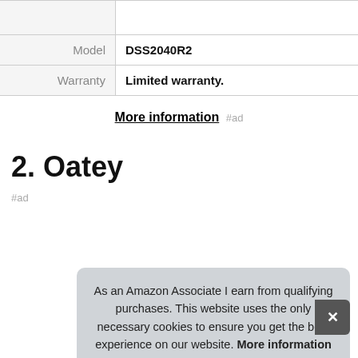| Label | Value |
| --- | --- |
| Model | DSS2040R2 |
| Warranty | Limited warranty. |
More information #ad
2. Oatey
#ad
As an Amazon Associate I earn from qualifying purchases. This website uses the only necessary cookies to ensure you get the best experience on our website. More information